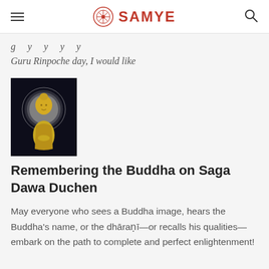SAMYE
g y y y y
Guru Rinpoche day, I would like
[Figure (photo): Golden Buddha statue with white halo on dark background]
Remembering the Buddha on Saga Dawa Duchen
May everyone who sees a Buddha image, hears the Buddha's name, or the dhāraṇī—or recalls his qualities—embark on the path to complete and perfect enlightenment!